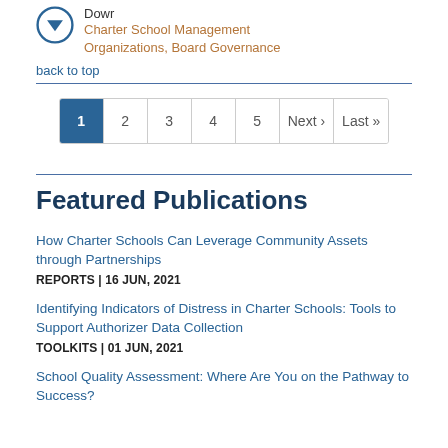Dowr
Charter School Management Organizations, Board Governance
back to top
1 2 3 4 5 Next › Last »
Featured Publications
How Charter Schools Can Leverage Community Assets through Partnerships
REPORTS | 16 JUN, 2021
Identifying Indicators of Distress in Charter Schools: Tools to Support Authorizer Data Collection
TOOLKITS | 01 JUN, 2021
School Quality Assessment: Where Are You on the Pathway to Success?